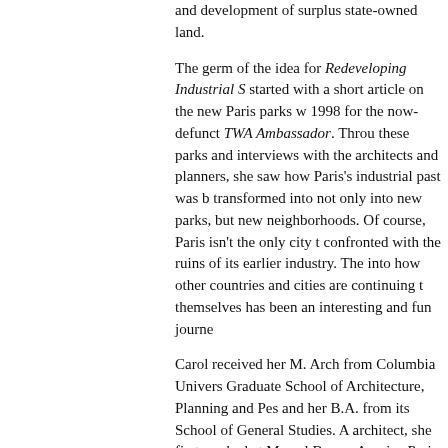and development of surplus state-owned land.
The germ of the idea for Redeveloping Industrial S... started with a short article on the new Paris parks w... 1998 for the now-defunct TWA Ambassador. Throu... these parks and interviews with the architects and planners, she saw how Paris's industrial past was b... transformed into not only into new parks, but new neighborhoods. Of course, Paris isn't the only city t... confronted with the ruins of its earlier industry. The... into how other countries and cities are continuing t... themselves has been an interesting and fun journe...
Carol received her M. Arch from Columbia Univers... Graduate School of Architecture, Planning and Pes... and her B.A. from its School of General Studies. A... architect, she first worked at Marcel Breuer Assoica... Paris. She returned to New York City where she wo... Hardy Holzman Pfeiffer Assoicates before joining s... private developers and then  the Empire State Dev... Corporation.
.
.
Buy Redeveloping Industri...